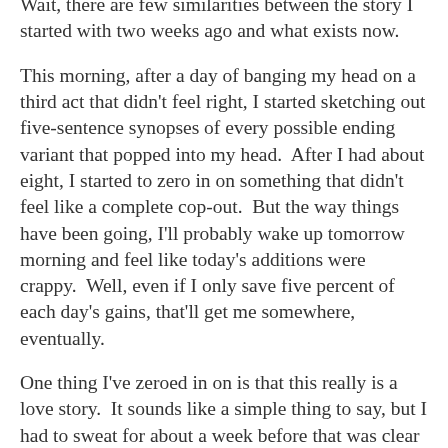Wait, there are few similarities between the story I started with two weeks ago and what exists now.
This morning, after a day of banging my head on a third act that didn't feel right, I started sketching out five-sentence synopses of every possible ending variant that popped into my head.  After I had about eight, I started to zero in on something that didn't feel like a complete cop-out.  But the way things have been going, I'll probably wake up tomorrow morning and feel like today's additions were crappy.  Well, even if I only save five percent of each day's gains, that'll get me somewhere, eventually.
One thing I've zeroed in on is that this really is a love story.  It sounds like a simple thing to say, but I had to sweat for about a week before that was clear to me.
Another thing that I'm starting to notice is that a lot of movies (including some movies that I really like) get away with murder in the writing department.  Bad pacing, cliches, too much exposition, repetition -- it turns out that you can still make a successful, well-liked movie, even if your story sucks.  And the literary standards for sci-fi and action movies